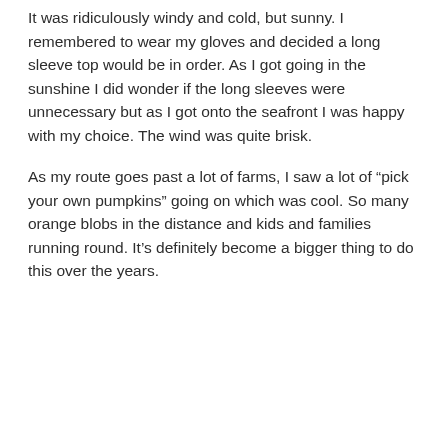It was ridiculously windy and cold, but sunny. I remembered to wear my gloves and decided a long sleeve top would be in order. As I got going in the sunshine I did wonder if the long sleeves were unnecessary but as I got onto the seafront I was happy with my choice. The wind was quite brisk.
As my route goes past a lot of farms, I saw a lot of “pick your own pumpkins” going on which was cool. So many orange blobs in the distance and kids and families running round. It’s definitely become a bigger thing to do this over the years.